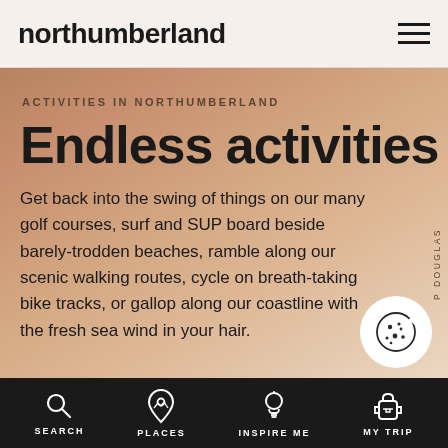Northumberland
ACTIVITIES IN NORTHUMBERLAND
Endless activities
Get back into the swing of things on our many golf courses, surf and SUP board beside barely-trodden beaches, ramble along our scenic walking routes, cycle on breath-taking bike tracks, or gallop along our coastline with the fresh sea wind in your hair.
[Figure (illustration): Cookie icon in a white circle]
SEARCH  PLACES  INSPIRE ME  MY TRIP